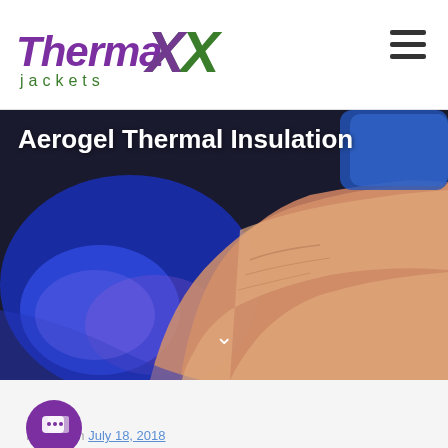[Figure (logo): ThermaXX Jackets logo with stylized purple and green X letters and green text 'jackets' below]
[Figure (photo): Close-up photograph of a human hand resting on a blue glowing surface, illustrating thermal insulation with aerogel material]
Aerogel Thermal Insulation
AEROGEL THERMAL INSULATION
Posted on July 18, 2018